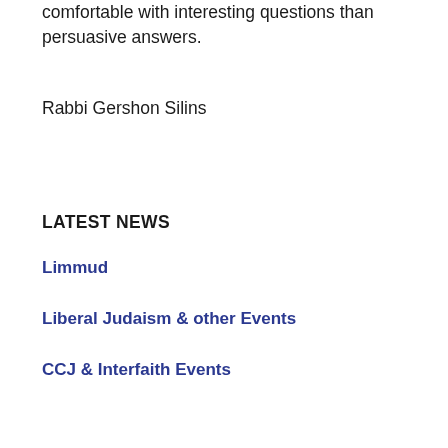comfortable with interesting questions than persuasive answers.
Rabbi Gershon Silins
LATEST NEWS
Limmud
Liberal Judaism & other Events
CCJ & Interfaith Events